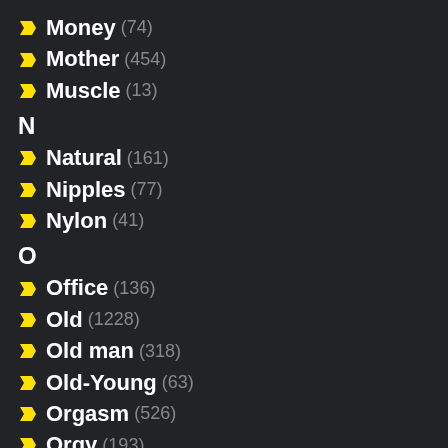Money (74)
Mother (454)
Muscle (13)
N
Natural (161)
Nipples (77)
Nylon (41)
O
Office (136)
Old (1228)
Old man (318)
Old-Young (63)
Orgasm (526)
Orgy (193)
Outdoor (208)
P
POV (605)